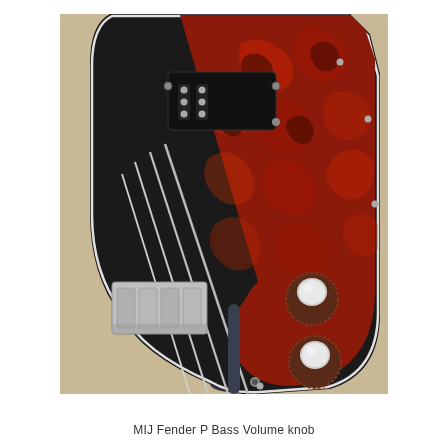[Figure (photo): Close-up photograph of the body of a black MIJ Fender P Bass guitar resting on a stand, showing a red tortoiseshell pickguard, black pickup, chrome bridge with four strings, and two volume/tone knobs with chrome tops.]
MIJ Fender P Bass Volume knob